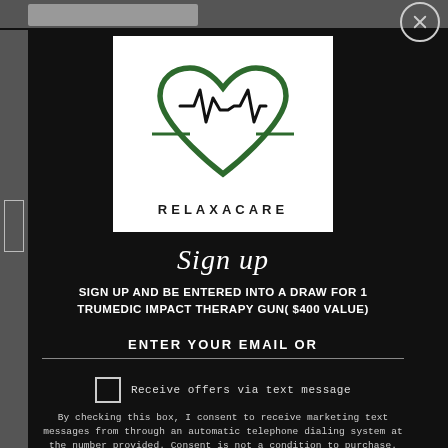[Figure (logo): Relaxacare logo: green heart outline with ECG/heartbeat line through it, text RELAXACARE below]
Sign up
SIGN UP AND BE ENTERED INTO A DRAW FOR 1 TRUMEDIC IMPACT THERAPY GUN( $400 VALUE)
ENTER YOUR EMAIL OR
Receive offers via text message
By checking this box, I consent to receive marketing text messages from through an automatic telephone dialing system at the number provided. Consent is not a condition to purchase. Text STOP to